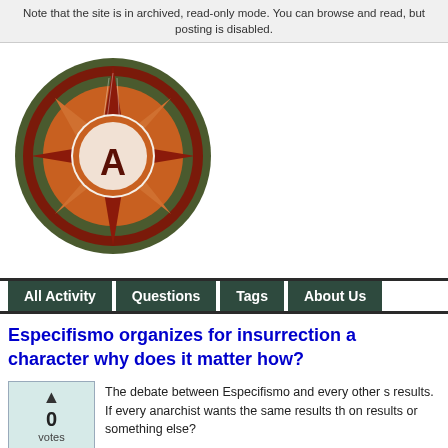Note that the site is in archived, read-only mode. You can browse and read, but posting is disabled.
[Figure (logo): Anarchist compass rose logo with letter A in center circle, dark red and orange star points on olive green circle background]
All Activity | Questions | Tags | About Us
Especifismo organizes for insurrection a character why does it matter how?
The debate between Especifismo and every other s results. If every anarchist wants the same results th on results or something else?